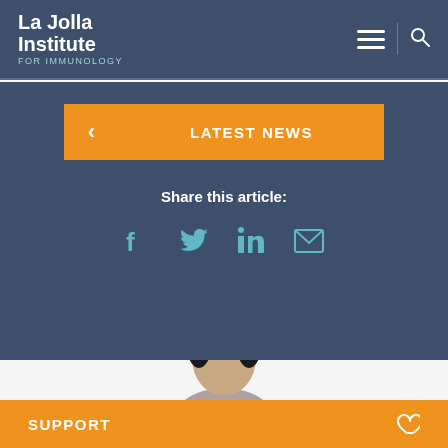La Jolla Institute FOR IMMUNOLOGY
LATEST NEWS
Share this article:
[Figure (screenshot): Social media share icons: Facebook, Twitter, LinkedIn, Email in teal color on dark blue background]
[Figure (photo): Partial photo of a person's head/face, cropped at top of frame]
SUPPORT